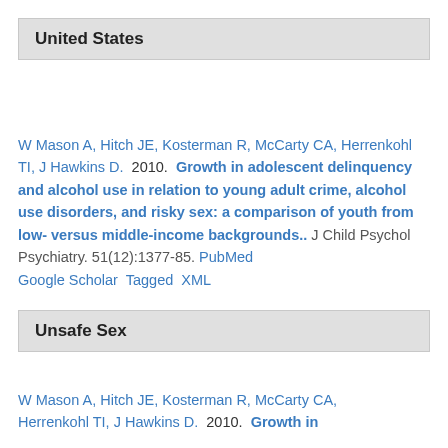United States
W Mason A, Hitch JE, Kosterman R, McCarty CA, Herrenkohl TI, J Hawkins D. 2010. Growth in adolescent delinquency and alcohol use in relation to young adult crime, alcohol use disorders, and risky sex: a comparison of youth from low- versus middle-income backgrounds.. J Child Psychol Psychiatry. 51(12):1377-85. PubMed Google Scholar Tagged XML
Unsafe Sex
W Mason A, Hitch JE, Kosterman R, McCarty CA, Herrenkohl TI, J Hawkins D. 2010. Growth in